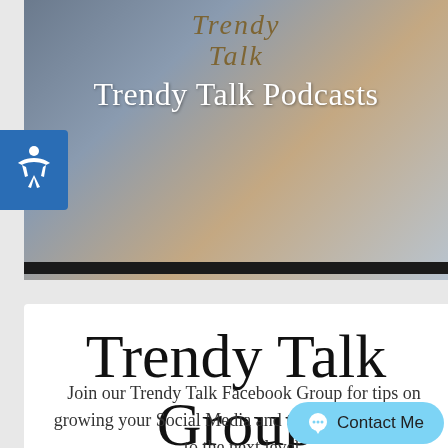Trendy Talk Podcasts
Trendy Talk Group
Join our Trendy Talk Facebook Group for tips on growing your Social Media and taking your business to the next level.